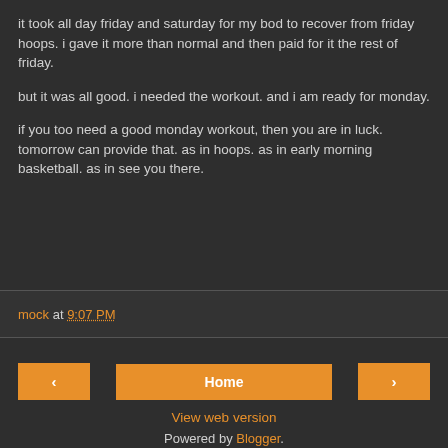it took all day friday and saturday for my bod to recover from friday hoops. i gave it more than normal and then paid for it the rest of friday.
but it was all good. i needed the workout. and i am ready for monday.
if you too need a good monday workout, then you are in luck. tomorrow can provide that. as in hoops. as in early morning basketball. as in see you there.
mock at 9:07 PM
< Home > View web version Powered by Blogger.